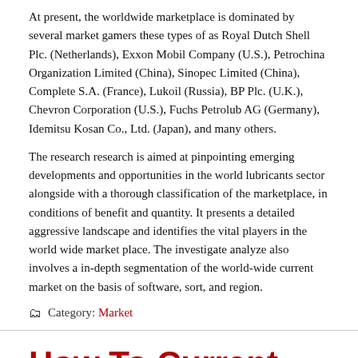At present, the worldwide marketplace is dominated by several market gamers these types of as Royal Dutch Shell Plc. (Netherlands), Exxon Mobil Company (U.S.), Petrochina Organization Limited (China), Sinopec Limited (China), Complete S.A. (France), Lukoil (Russia), BP Plc. (U.K.), Chevron Corporation (U.S.), Fuchs Petrolub AG (Germany), Idemitsu Kosan Co., Ltd. (Japan), and many others.
The research research is aimed at pinpointing emerging developments and opportunities in the world lubricants sector alongside with a thorough classification of the marketplace, in conditions of benefit and quantity. It presents a detailed aggressive landscape and identifies the vital players in the world wide market place. The investigate analyze also involves a in-depth segmentation of the world-wide current market on the basis of software, sort, and region.
Category: Market
How To Current market Your Skill As A Author
On: November 9, 2021
Great writers are wordsmiths. Like the constructing blocks, they have